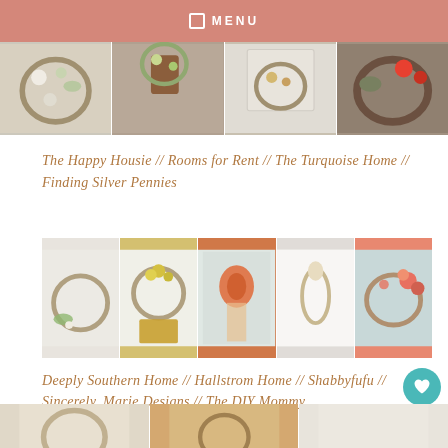MENU
[Figure (photo): Four wreath/floral arrangement photos in a horizontal row — white flowers with greenery, eucalyptus in copper vase, mixed autumn wreath on white wall, wild greenery wreath]
The Happy Housie // Rooms for Rent // The Turquoise Home // Finding Silver Pennies
[Figure (photo): Five wreath photos in a horizontal row — grapevine ring wreath, yellow flower wreath with mustard pillow, orange fall floral arrangement, white minimalist wreath on white shiplap, pink and orange floral grapevine wreath]
Deeply Southern Home // Hallstrom Home // Shabbyfufu // Sincerely, Marie Designs // The DIY Mommy
[Figure (photo): Partial bottom row of wreath/decor photos]